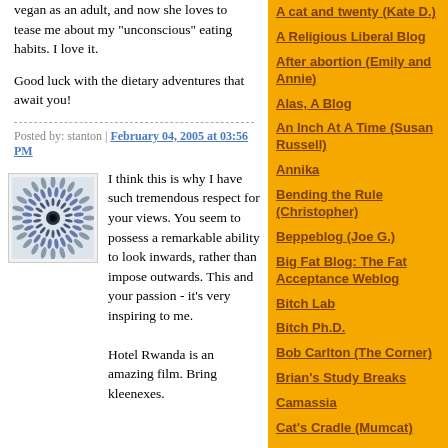vegan as an adult, and now she loves to tease me about my "unconscious" eating habits. I love it.
Good luck with the dietary adventures that await you!
Posted by: stanton | February 04, 2005 at 03:56 PM
[Figure (photo): Small square avatar image with geometric spiral/sunflower pattern in blue-grey tones]
I think this is why I have such tremendous respect for your views. You seem to possess a remarkable ability to look inwards, rather than impose outwards. This and your passion - it's very inspiring to me.
Hotel Rwanda is an amazing film. Bring kleenexes.
A cat and twenty (Kate D.)
A Religious Liberal Blog
After abortion (Emily and Annie)
Alas, A Blog
An Inch At A Time (Susan Russell)
Annika
Bending the Rule (Christopher)
Beppeblog (Joe G.)
Big Fat Blog: The Fat Acceptance Weblog
Bitch Lab
Bitch Ph.D.
Bob Carlton (The Corner)
Brian's Study Breaks
Camassia
Cat's Cradle (Mumcat)
Cliopatria (History News Network)
Connie Chung
Creek Running North (Chris Clarke)